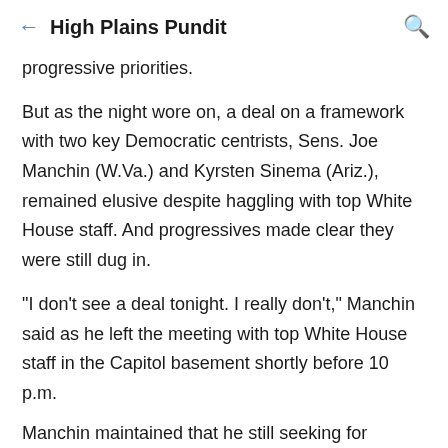High Plains Pundit
progressive priorities.
But as the night wore on, a deal on a framework with two key Democratic centrists, Sens. Joe Manchin (W.Va.) and Kyrsten Sinema (Ariz.), remained elusive despite haggling with top White House staff. And progressives made clear they were still dug in.
"I don't see a deal tonight. I really don't," Manchin said as he left the meeting with top White House staff in the Capitol basement shortly before 10 p.m.
Manchin maintained that he still seeking for outstanding li...